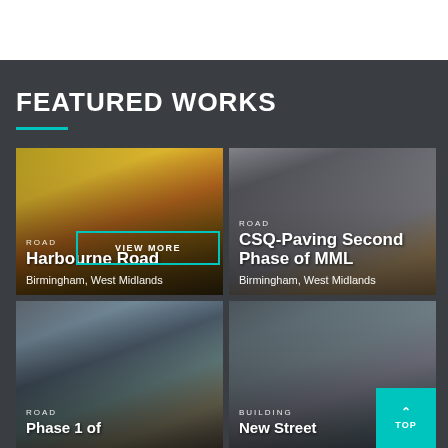FEATURED WORKS
[Figure (photo): Construction site with yellow excavator and machinery, Birmingham West Midlands - Harbourne Road project]
[Figure (photo): Street paving works in city centre with metal barriers and pink fencing, Birmingham West Midlands - CSQ-Paving Second Phase of MML]
[Figure (photo): Urban construction/road works aerial view - Road project Phase 1]
[Figure (photo): Urban street scene with building and bollards - New Street building project]